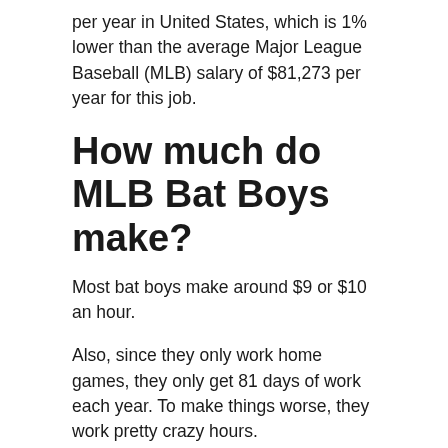per year in United States, which is 1% lower than the average Major League Baseball (MLB) salary of $81,273 per year for this job.
How much do MLB Bat Boys make?
Most bat boys make around $9 or $10 an hour.
Also, since they only work home games, they only get 81 days of work each year. To make things worse, they work pretty crazy hours.
How much does Aaron Boone make?